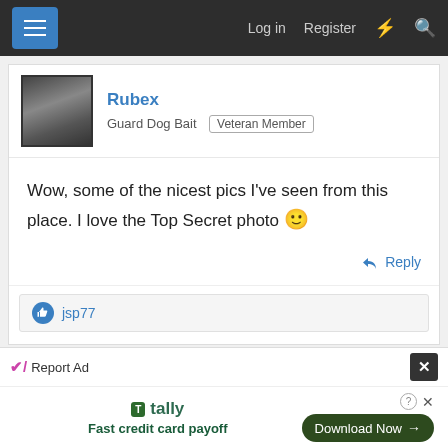Log in  Register
Rubex
Guard Dog Bait  Veteran Member
Wow, some of the nicest pics I've seen from this place. I love the Top Secret photo 🙂
Reply
jsp77
Advertisement
Report Ad
[Figure (other): Tally advertisement - Fast credit card payoff with Download Now button]